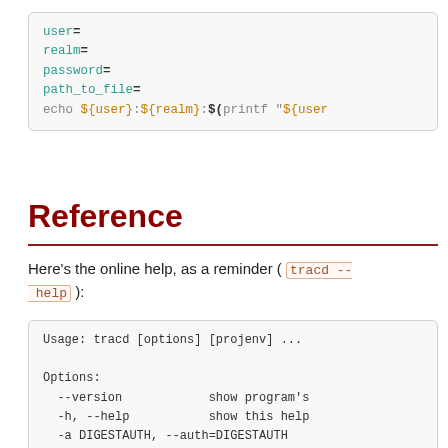[Figure (screenshot): Code block showing shell script variables: user=, realm=, password=, path_to_file=, echo ${user}:${realm}:$(printf "${user}]
Reference
Here's the online help, as a reminder ( tracd --help ):
[Figure (screenshot): Code block showing tracd command usage and options: Usage: tracd [options] [projenv] ..., Options: --version show program's, -h, --help show this help, -a DIGESTAUTH, --auth=DIGESTAUTH [projectdir],[h, --basic-auth=BASICAUTH [projectdir],[h, -p PORT, --port=PORT the port number, -b HOSTNAME, --hostname=HOSTNAME, the host name o]